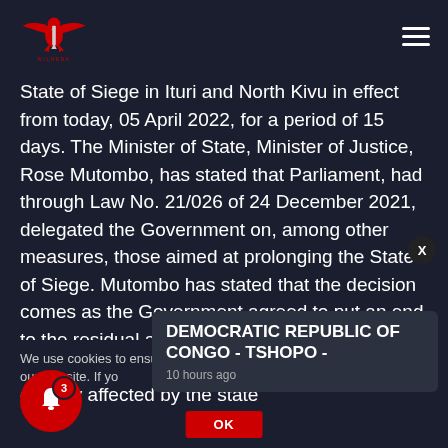[Figure (logo): Red eagle/bird logo with text WILHENA around it]
State of Siege in Ituri and North Kivu in effect from today, 05 April 2022, for a period of 15 days. The Minister of State, Minister of Justice, Rose Mutombo, has stated that Parliament, had through Law No. 21/026 of 24 December 2021, delegated the Government on, among other measures, those aimed at prolonging the State of Siege. Mutombo has stated that the decision comes as the Government agreed to put an end to the residual activism of terrorism and strengthen security at the borders in parts of the country affected by the state
We use cookies to ensure that we give you the best experience on our website. If yo
DEMOCRATIC REPUBLIC OF CONGO - TSHOPO -
10 hours ago